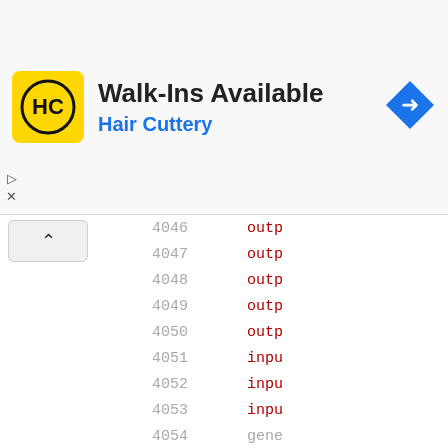[Figure (screenshot): Advertisement banner for Hair Cuttery salon showing 'Walk-Ins Available' text with HC logo and navigation arrow icon]
| Line | Code |
| --- | --- |
| 4046 | outp |
| 4047 | outp |
| 4048 | outp |
| 4049 | outp |
| 4050 | outp |
| 4051 | inpu |
| 4052 | inpu |
| 4053 | inpu |
| 4054 | gene |
| 4055 | if ( |
| 4056 | wire |
| 4057 | wire |
| 4058 | wire |
| 4059 | assi |
| 4060 | vl_w |
| 4061 |  |
| 4062 |  |